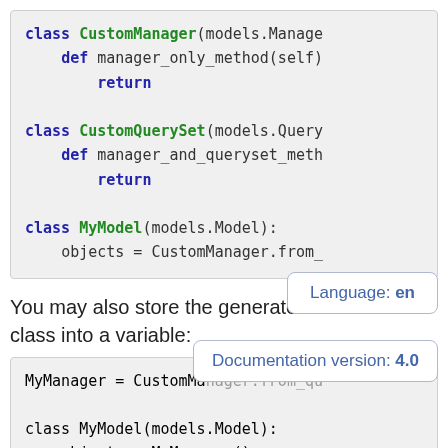[Figure (screenshot): Code block showing Python class definitions: CustomManager, CustomQuerySet, and MyModel with objects assignment]
You may also store the generated class into a variable:
[Figure (screenshot): Code block showing MyManager = CustomManager.from_qu... and class MyModel(models.Model): with objects = MyManager()]
Language: en
Documentation version: 4.0